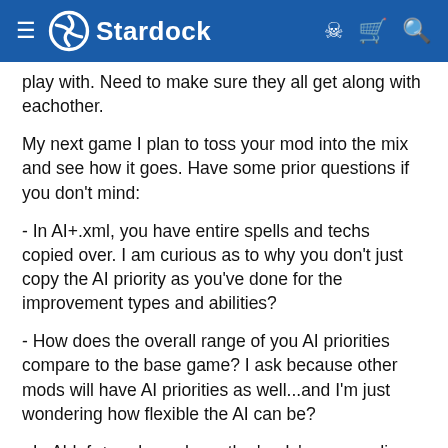Stardock
play with. Need to make sure they all get along with eachother.
My next game I plan to toss your mod into the mix and see how it goes. Have some prior questions if you don't mind:
- In AI+.xml, you have entire spells and techs copied over. I am curious as to why you don't just copy the AI priority as you've done for the improvement types and abilities?
- How does the overall range of you AI priorities compare to the base game? I ask because other mods will have AI priorities as well...and I'm just wondering how flexible the AI can be?
- In Aldefs+.xml, you have the 'early' game ending on turn